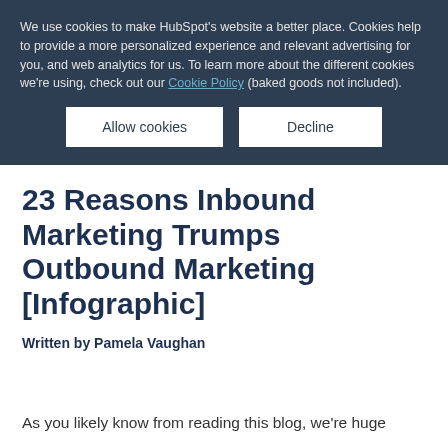We use cookies to make HubSpot's website a better place. Cookies help to provide a more personalized experience and relevant advertising for you, and web analytics for us. To learn more about the different cookies we're using, check out our Cookie Policy (baked goods not included).
Allow cookies | Decline
23 Reasons Inbound Marketing Trumps Outbound Marketing [Infographic]
Written by Pamela Vaughan
As you likely know from reading this blog, we're huge